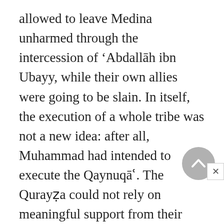allowed to leave Medina unharmed through the intercession of ‘Abdallāh ibn Ubayy, while their own allies were going to be slain. In itself, the execution of a whole tribe was not a new idea: after all, Muhammad had intended to execute the Qaynuqāʿ. The Qurayẓa could not rely on meaningful support from their allies, the Aws, for the simple reason that at the time of their execution most of the Aws were not yet Muslims. ‘Abdallāh ibn Ubayy, even after having lost some